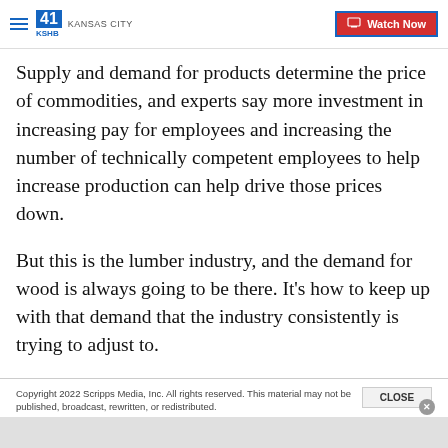41 KSHB KANSAS CITY | Watch Now
Supply and demand for products determine the price of commodities, and experts say more investment in increasing pay for employees and increasing the number of technically competent employees to help increase production can help drive those prices down.
But this is the lumber industry, and the demand for wood is always going to be there. It’s how to keep up with that demand that the industry consistently is trying to adjust to.
Copyright 2022 Scripps Media, Inc. All rights reserved. This material may not be published, broadcast, rewritten, or redistributed.